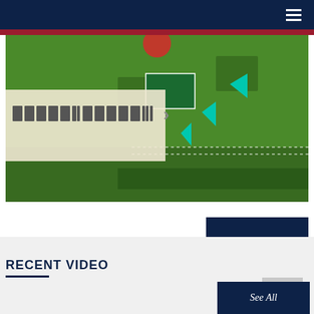Navigation header with hamburger menu
[Figure (photo): Aerial/drone view of a green lawn or field with decorations, flags, and event setup. Left side shows a translucent overlay panel with garbled/redacted text and a right-arrow chevron.]
See All
RECENT VIDEO
See All